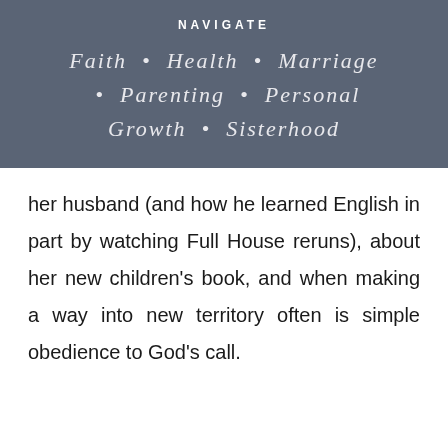NAVIGATE
Faith • Health • Marriage • Parenting • Personal Growth • Sisterhood
her husband (and how he learned English in part by watching Full House reruns), about her new children's book, and when making a way into new territory often is simple obedience to God's call.